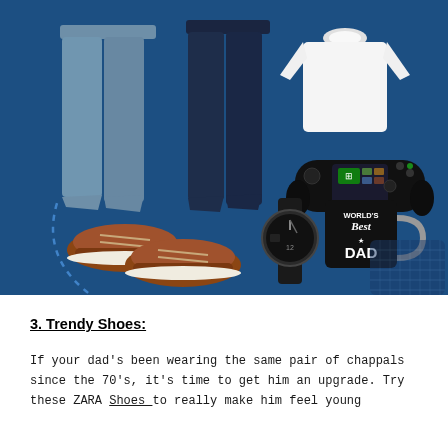[Figure (photo): A collage of men's gift items arranged on a dark navy blue background: two pairs of trousers (grey-blue and dark navy), a white t-shirt, a mobile gaming controller with Xbox branding, a pair of brown boat shoes, a black wristwatch, and a black mug reading 'World's Best DAD'. Decorative dashed arc and diagonal stripe pattern elements are visible.]
3. Trendy Shoes:
If your dad's been wearing the same pair of chappals since the 70's, it's time to get him an upgrade. Try these ZARA Shoes to really make him feel young